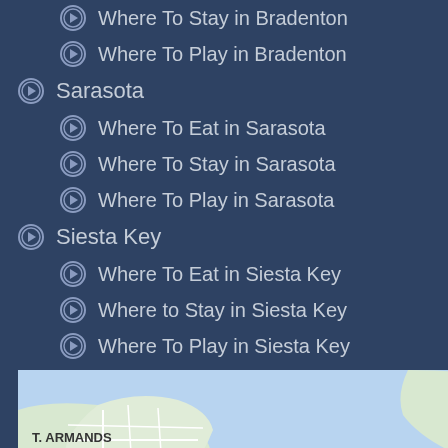Where To Stay in Bradenton
Where To Play in Bradenton
Sarasota
Where To Eat in Sarasota
Where To Stay in Sarasota
Where To Play in Sarasota
Siesta Key
Where To Eat in Siesta Key
Where to Stay in Siesta Key
Where To Play in Siesta Key
MAP
[Figure (map): Google Maps partial view showing St. Armands area and Bird Key near Sarasota, Florida]